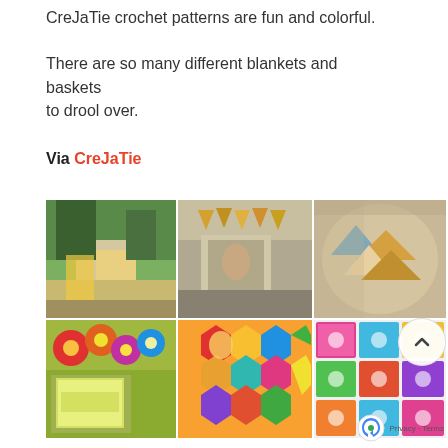CreJaTie crochet patterns are fun and colorful. There are so many different blankets and baskets to drool over.
Via CreJaTie
[Figure (photo): A 3x3 grid of Instagram-style photos showing colorful crochet items: blankets, baskets, granny squares, bunting, and flower motifs by CreJaTie]